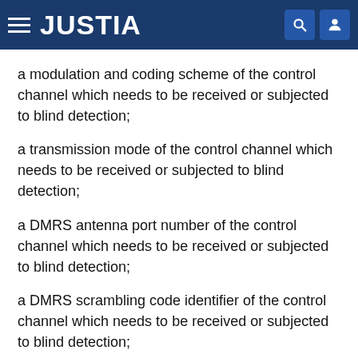JUSTIA
a modulation and coding scheme of the control channel which needs to be received or subjected to blind detection;
a transmission mode of the control channel which needs to be received or subjected to blind detection;
a DMRS antenna port number of the control channel which needs to be received or subjected to blind detection;
a DMRS scrambling code identifier of the control channel which needs to be received or subjected to blind detection;
an identifier of the number of DMRS layers of the